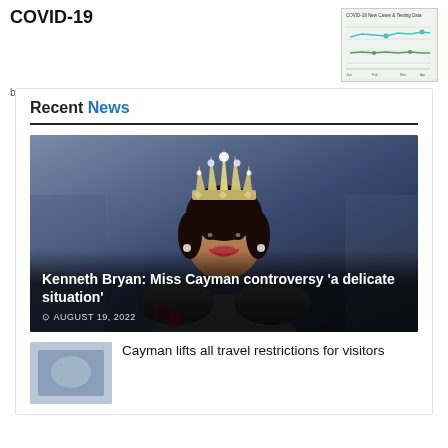COVID-19
by Renae Stampp  APRIL 1, 2022  0
[Figure (line-chart): Small thumbnail chart showing COVID-19 New Cases & Testing Data line chart]
Recent News
[Figure (photo): Woman wearing an ornate diamond crown, smiling, in a dark evening gown. Beauty pageant winner photo.]
Kenneth Bryan: Miss Cayman controversy 'a delicate situation'
AUGUST 19, 2022
Cayman lifts all travel restrictions for visitors